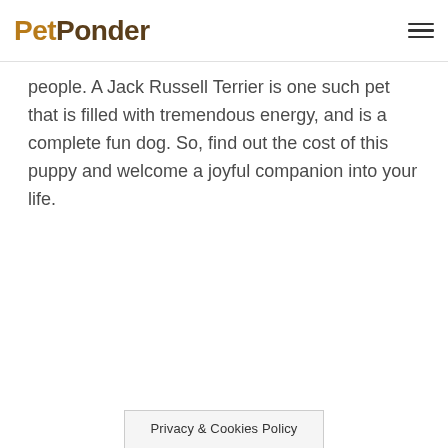PetPonder
people. A Jack Russell Terrier is one such pet that is filled with tremendous energy, and is a complete fun dog. So, find out the cost of this puppy and welcome a joyful companion into your life.
Privacy & Cookies Policy